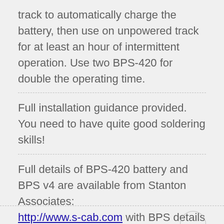track to automatically charge the battery, then use on unpowered track for at least an hour of intermittent operation. Use two BPS-420 for double the operating time.
Full installation guidance provided. You need to have quite good soldering skills!
Full details of BPS-420 battery and BPS v4 are available from Stanton Associates: http://www.s-cab.com with BPS details at: http://www.s-cab.com/price-list.html